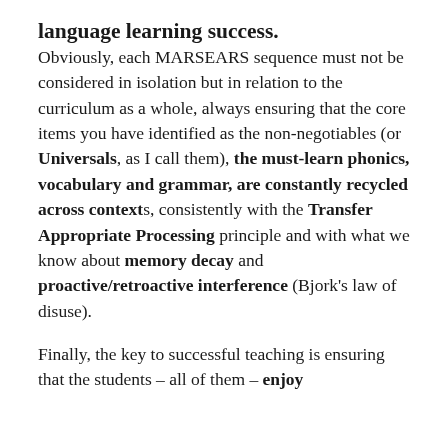language learning success.
Obviously, each MARSEARS sequence must not be considered in isolation but in relation to the curriculum as a whole, always ensuring that the core items you have identified as the non-negotiables (or Universals, as I call them), the must-learn phonics, vocabulary and grammar, are constantly recycled across contexts, consistently with the Transfer Appropriate Processing principle and with what we know about memory decay and proactive/retroactive interference (Bjork’s law of disuse).
Finally, the key to successful teaching is ensuring that the students – all of them – enjoy